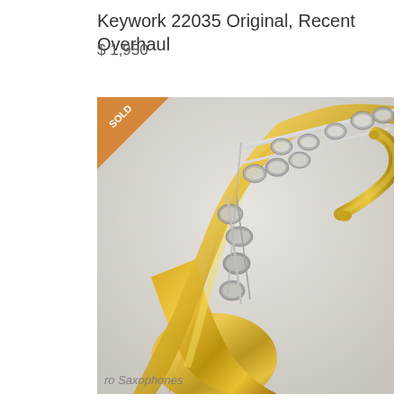Keywork 22035 Original, Recent Overhaul
$ 1,950
[Figure (photo): Close-up photo of a saxophone with gold lacquered body and silver-colored keywork mechanism, shown with its neck/mouthpiece detached, on a light grey background. An orange 'SOLD' banner appears in the top-left corner of the image.]
ro Saxophones